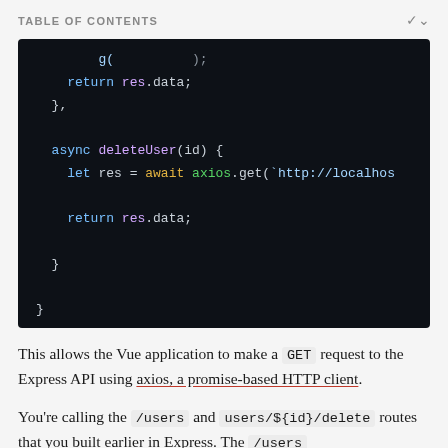TABLE OF CONTENTS
[Figure (screenshot): Dark-themed code block showing JavaScript async deleteUser function with axios GET request. Code shows: return res.data; }, async deleteUser(id) { let res = await axios.get(`http://localhos... return res.data; } }]
This allows the Vue application to make a GET request to the Express API using axios, a promise-based HTTP client.
You're calling the /users and users/${id}/delete routes that you built earlier in Express. The /users